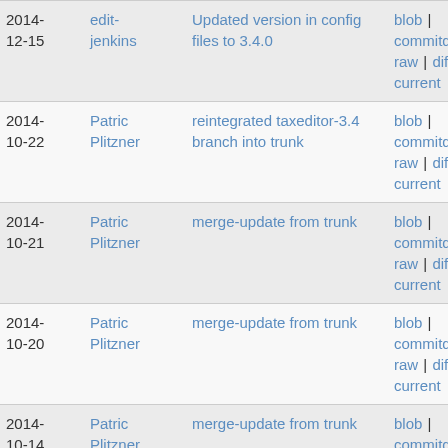| Date | Author | Description | Links |
| --- | --- | --- | --- |
| 2014-12-15 | edit-jenkins | Updated version in config files to 3.4.0 | blob | commitdiff | raw | diff to current |
| 2014-10-22 | Patric Plitzner | reintegrated taxeditor-3.4 branch into trunk | blob | commitdiff | raw | diff to current |
| 2014-10-21 | Patric Plitzner | merge-update from trunk | blob | commitdiff | raw | diff to current |
| 2014-10-20 | Patric Plitzner | merge-update from trunk | blob | commitdiff | raw | diff to current |
| 2014-10-14 | Patric Plitzner | merge-update from trunk | blob | commitdiff | raw | diff to current |
| 2014-10-14 | Patric Plitzner | merge-update from trunk | blob | commitdiff | |